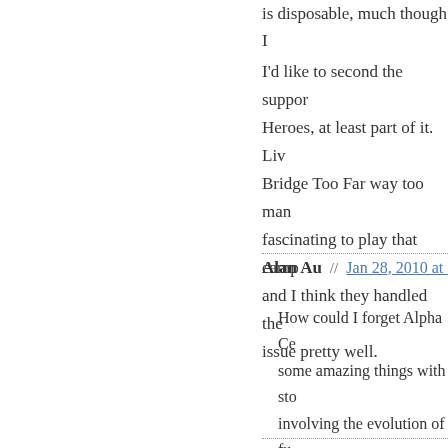is disposable, much though I
I'd like to second the support Heroes, at least part of it. Liv Bridge Too Far way too man fascinating to play that camp and I think they handled the issue pretty well.
Alan Au // Jan 28, 2010 at 8:06
How could I forget Alpha Ce some amazing things with st involving the evolution of fu bonus.